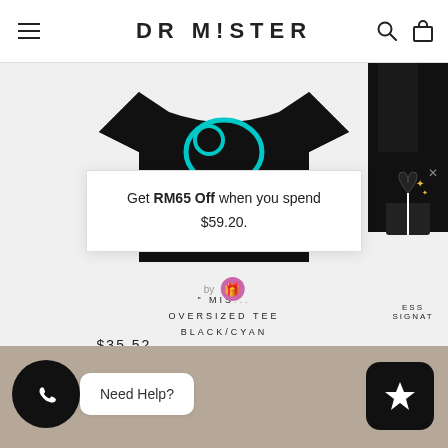DR MISTER
[Figure (photo): Black oversized t-shirt with cyan graphic, displayed on a light grey background. Partial second t-shirt visible on right edge.]
Get RM65 Off when you spend $59.20.
"MIS... OVERSIZED TEE BLACK/CYAN
$35.52
ESS... SIGNAT...
Need Help?